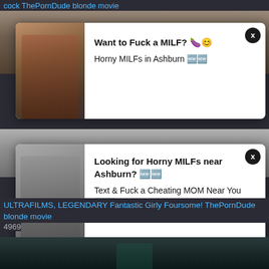cock ThePornDude blonde movie
[Figure (photo): Advertisement popup with woman photo: Want to Fuck a MILF? Horny MILFs in Ashburn]
[Figure (photo): Thumbnail strip showing blonde and another person]
[Figure (photo): Advertisement popup with seated woman photo: Looking for Horny MILFs near Ashburn? Text & Fuck a Cheating MOM Near You]
[Figure (photo): Video thumbnail - bed scene with duration 13:25]
ULTRAFILMS, LEGENDARY Fantastic Girly Foursome! ThePornDude blonde movie
4969
[Figure (photo): Partial thumbnail of another video at bottom of page]